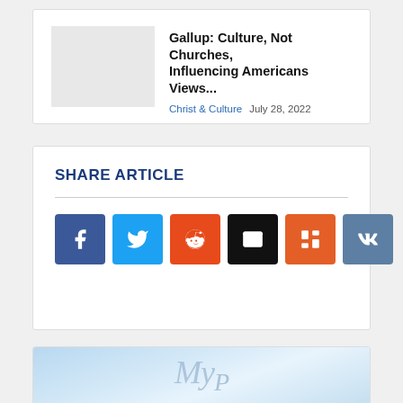Gallup: Culture, Not Churches, Influencing Americans Views...
Christ & Culture  July 28, 2022
SHARE ARTICLE
[Figure (infographic): Social share buttons: Facebook (blue), Twitter (light blue), Reddit (orange-red), Email (black), Mix (orange), VK (muted blue)]
[Figure (logo): Stylized Cyrillic or decorative logo text in light blue/grey tones on a sky-blue gradient background]